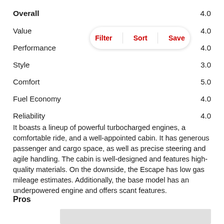| Category | Score |
| --- | --- |
| Overall | 4.0 |
| Value | 4.0 |
| Performance | 4.0 |
| Style | 3.0 |
| Comfort | 5.0 |
| Fuel Economy | 4.0 |
| Reliability | 4.0 |
[Figure (infographic): Filter / Sort / Save button bar with pill shape and red text labels]
It boasts a lineup of powerful turbocharged engines, a comfortable ride, and a well-appointed cabin. It has generous passenger and cargo space, as well as precise steering and agile handling. The cabin is well-designed and features high-quality materials. On the downside, the Escape has low gas mileage estimates. Additionally, the base model has an underpowered engine and offers scant features.
Pros
[Figure (other): Grey placeholder image rectangle]